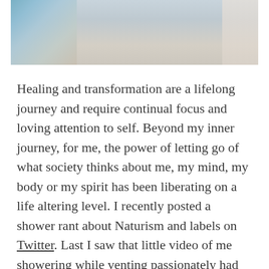[Figure (photo): Cropped photo showing bottom portion of a person, appearing to show clothing with blue/teal pattern, cropped at the top of the page]
Healing and transformation are a lifelong journey and require continual focus and loving attention to self. Beyond my inner journey, for me, the power of letting go of what society thinks about me, my mind, my body or my spirit has been liberating on a life altering level. I recently posted a shower rant about Naturism and labels on Twitter. Last I saw that little video of me showering while venting passionately had nearly 20,000 views. My silly little snow angel challenge video has had even more views. The idea of that many people watching my videos is honestly kind